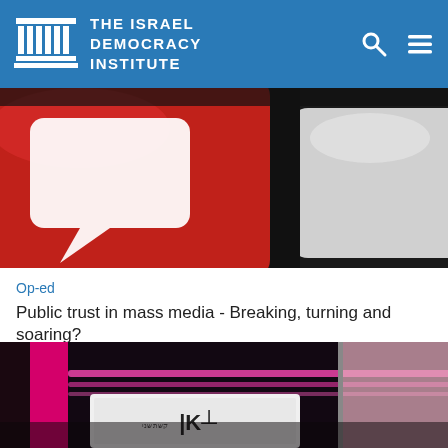THE ISRAEL DEMOCRACY INSTITUTE
[Figure (photo): Close-up photo of red and grey keyboard keys with a speech bubble icon on the red key]
Op-ed
Public trust in mass media - Breaking, turning and soaring?
Written By: Dr. Tehilla Shwartz Altshuler
Last year the Democracy Index pointed to an all-time low in public trust in the media. However, in 2017 it seems that the trend has reversed. Why?
[Figure (photo): Photo of a TV studio with pink/magenta neon lights and a screen displaying a logo resembling Israeli Channel 2 (IKD)]